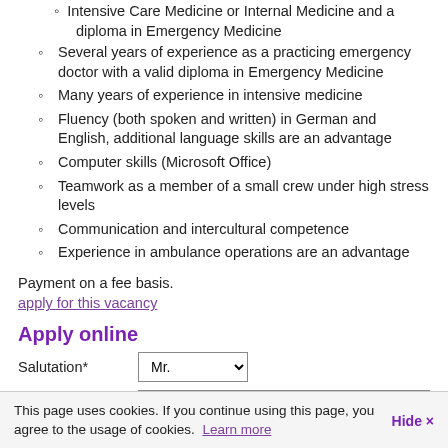Intensive Care Medicine or Internal Medicine and a diploma in Emergency Medicine
Several years of experience as a practicing emergency doctor with a valid diploma in Emergency Medicine
Many years of experience in intensive medicine
Fluency (both spoken and written) in German and English, additional language skills are an advantage
Computer skills (Microsoft Office)
Teamwork as a member of a small crew under high stress levels
Communication and intercultural competence
Experience in ambulance operations are an advantage
Payment on a fee basis.
apply for this vacancy
Apply online
Salutation* [dropdown: Mr.]
Title [text input]
First name* [text input]
This page uses cookies. If you continue using this page, you agree to the usage of cookies. Learn more  Hide ×